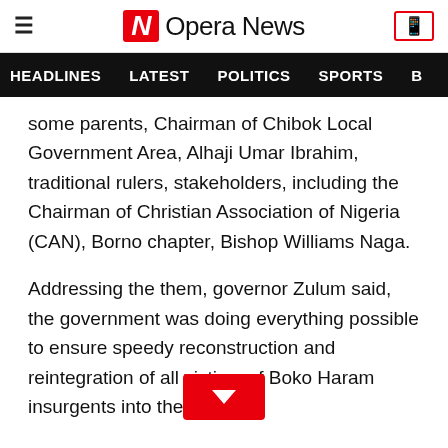Opera News
HEADLINES  LATEST  POLITICS  SPORTS
some parents, Chairman of Chibok Local Government Area, Alhaji Umar Ibrahim, traditional rulers, stakeholders, including the Chairman of Christian Association of Nigeria (CAN), Borno chapter, Bishop Williams Naga.
Addressing the them, governor Zulum said, the government was doing everything possible to ensure speedy reconstruction and reintegration of all victims of Boko Haram insurgents into the society.